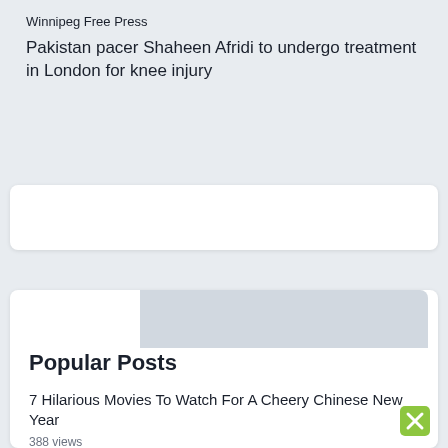Winnipeg Free Press
Pakistan pacer Shaheen Afridi to undergo treatment in London for knee injury
Popular Posts
7 Hilarious Movies To Watch For A Cheery Chinese New Year
388 views